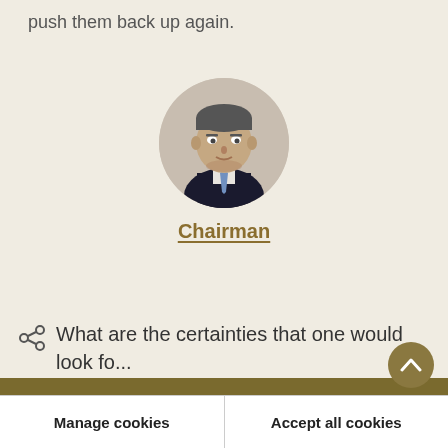push them back up again.
[Figure (photo): Circular portrait photo of the Chairman, a middle-aged man in a dark suit with a blue/purple tie.]
Chairman
What are the certainties that one would look fo...
Cookies on oireachtas.ie
We use cookies to ensure our website works well. We'd like to use analytics and functionality cookies to help us improve it but we require your consent to do so. If you don't consent, only necessary cookies will be used. Read more about our cookies
Manage cookies
Accept all cookies